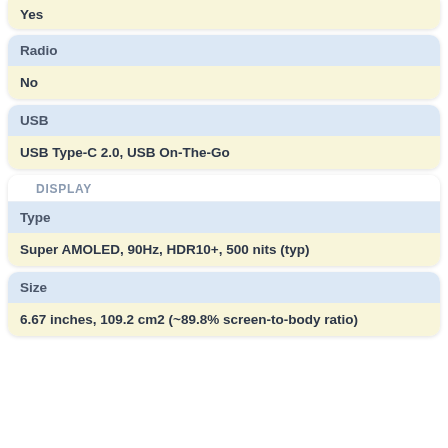Yes
Radio
No
USB
USB Type-C 2.0, USB On-The-Go
DISPLAY
Type
Super AMOLED, 90Hz, HDR10+, 500 nits (typ)
Size
6.67 inches, 109.2 cm2 (~89.8% screen-to-body ratio)